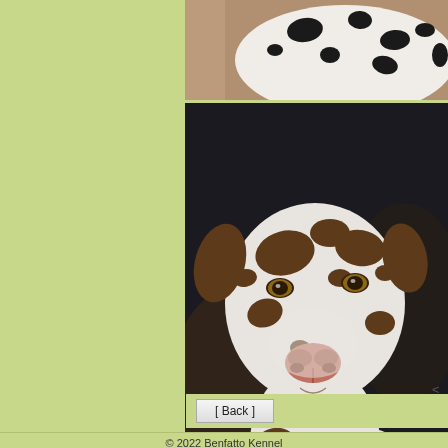[Figure (photo): Top photo showing Dalmatian dog body with black and white spots, partially cropped]
[Figure (photo): Close-up portrait photo of a Dalmatian dog with brown spots on white fur, looking slightly to the left, dark background]
Vittoria La Grande Benfatto has successfully... HD free. Fundus and lens: clear. Thank owners n...
© 2022 Benfatto Kennel